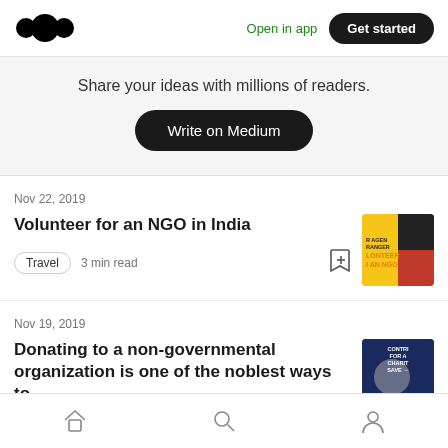Medium logo | Open in app | Get started
Share your ideas with millions of readers.
Write on Medium
Nov 22, 2019
Volunteer for an NGO in India
Travel  3 min read
Nov 19, 2019
Donating to a non-governmental organization is one of the noblest ways to...
Home | Search | Profile